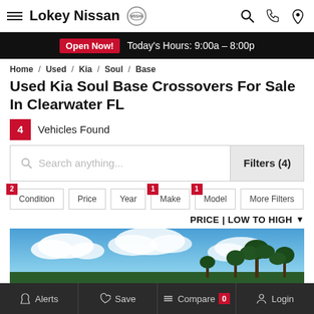Lokey Nissan
Open Now! Today's Hours: 9:00a – 8:00p
Home / Used / Kia / Soul / Base
Used Kia Soul Base Crossovers For Sale In Clearwater FL
4 Vehicles Found
Search anything...
Filters (4)
Condition | Price | Year | Make | Model | More Filters
PRICE | LOW TO HIGH
[Figure (photo): Outdoor photo showing blue sky with clouds and palm trees at the top of a vehicle listing image.]
Alerts  Save  Compare 0  Login